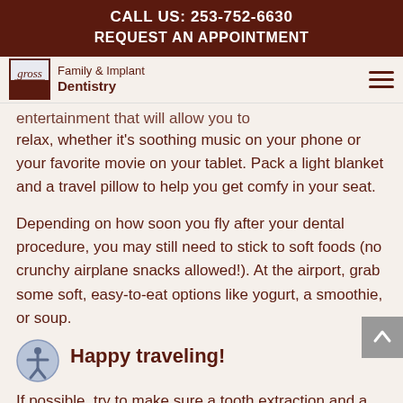CALL US: 253-752-6630
REQUEST AN APPOINTMENT
[Figure (logo): Gross Family & Implant Dentistry logo with cursive text and brown/blue square icon]
entertainment that will allow you to relax, whether it's soothing music on your phone or your favorite movie on your tablet. Pack a light blanket and a travel pillow to help you get comfy in your seat.
Depending on how soon you fly after your dental procedure, you may still need to stick to soft foods (no crunchy airplane snacks allowed!). At the airport, grab some soft, easy-to-eat options like yogurt, a smoothie, or soup.
Happy traveling!
If possible, try to make sure a tooth extraction and a scheduled flight aren't